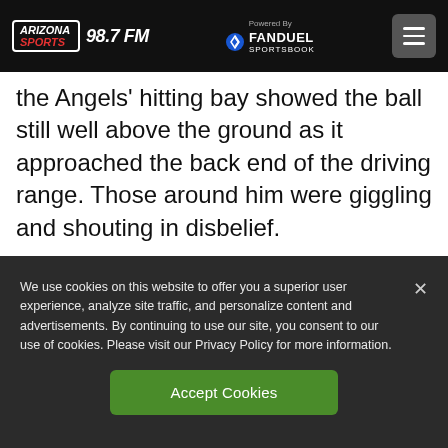Arizona Sports 98.7 FM — Powered By FanDuel Sportsbook
the Angels' hitting bay showed the ball still well above the ground as it approached the back end of the driving range. Those around him were giggling and shouting in disbelief.
Dodgers outfielder Cody Bellinger did something similar.
We use cookies on this website to offer you a superior user experience, analyze site traffic, and personalize content and advertisements. By continuing to use our site, you consent to our use of cookies. Please visit our Privacy Policy for more information.